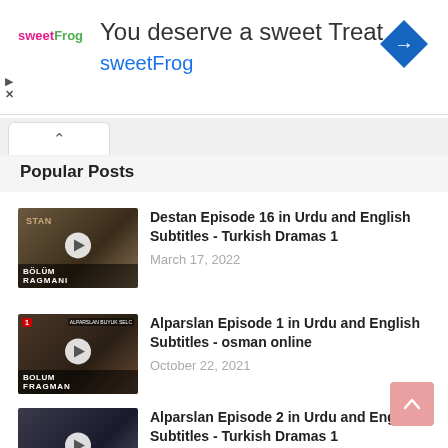[Figure (screenshot): sweetFrog advertisement banner: 'You deserve a sweet Treat' with sweetFrog logo and blue diamond navigation icon]
Popular Posts
[Figure (photo): Thumbnail for Destan Episode 16 - Turkish drama video thumbnail showing a woman with crown, BÖLÜM FRAGMANI text overlay]
Destan Episode 16 in Urdu and English Subtitles - Turkish Dramas 1
March 17, 2022
[Figure (photo): Thumbnail for Alparslan Episode 1 - Turkish drama video thumbnail showing a warrior, BOLUM FRAGMAN text overlay]
Alparslan Episode 1 in Urdu and English Subtitles - osman online
October 22, 2021
[Figure (photo): Thumbnail for Alparslan Episode 2 - Turkish drama video thumbnail showing warriors, BOLUM text overlay]
Alparslan Episode 2 in Urdu and English Subtitles - Turkish Dramas 1
November 15, 2021